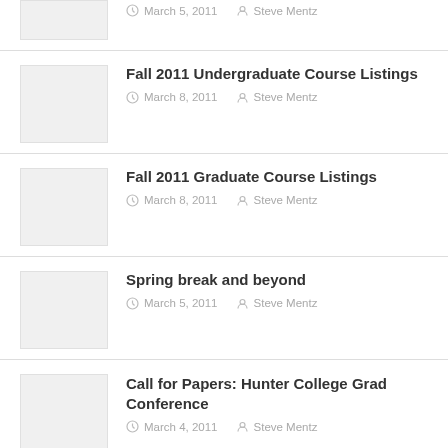[Figure (photo): Thumbnail image placeholder for a blog post]
March 5, 2011   Steve Mentz
Fall 2011 Undergraduate Course Listings
March 8, 2011   Steve Mentz
Fall 2011 Graduate Course Listings
March 8, 2011   Steve Mentz
Spring break and beyond
March 5, 2011   Steve Mentz
Call for Papers: Hunter College Grad Conference
March 4, 2011   Steve Mentz